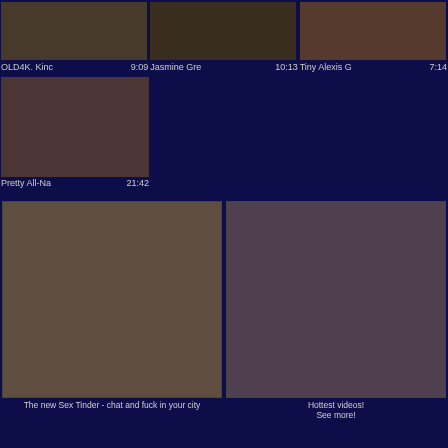[Figure (photo): Thumbnail image row 1: OLD4K video thumbnail]
OLD4K. Kinc  9:09
[Figure (photo): Thumbnail image row 1: Jasmine Gre video thumbnail]
Jasmine Gre  10:13
[Figure (photo): Thumbnail image row 1: Tiny Alexis G video thumbnail]
Tiny Alexis G  7:14
[Figure (photo): Thumbnail image row 2: Pretty All-Na video thumbnail]
Pretty All-Na  21:42
[Figure (photo): Advertisement banner: The new Sex Tinder - chat and fuck in your city]
The new Sex Tinder - chat and fuck in your city
[Figure (photo): Advertisement banner: Hottest videos! See more!]
Hottest videos! See more!